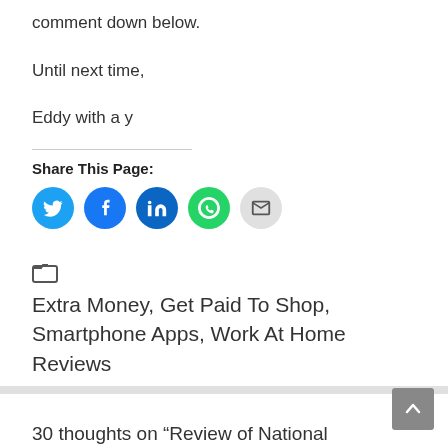comment down below.
Until next time,
Eddy with a y
Share This Page:
[Figure (infographic): Social share buttons: Twitter (blue), Facebook (dark blue), LinkedIn (dark blue), WhatsApp (green), Email (gray)]
Extra Money, Get Paid To Shop, Smartphone Apps, Work At Home Reviews
30 thoughts on “Review of National